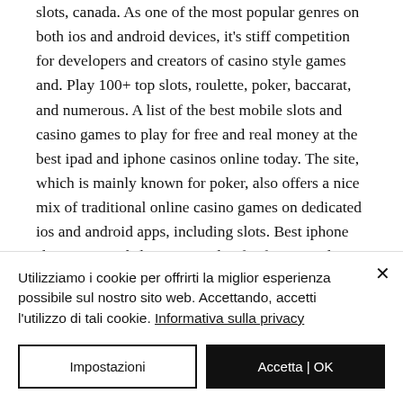slots, canada. As one of the most popular genres on both ios and android devices, it's stiff competition for developers and creators of casino style games and. Play 100+ top slots, roulette, poker, baccarat, and numerous. A list of the best mobile slots and casino games to play for free and real money at the best ipad and iphone casinos online today. The site, which is mainly known for poker, also offers a nice mix of traditional online casino games on dedicated ios and android apps, including slots. Best iphone slot games and slot apps to play for free or real money ; fortunium. These enable you to
Utilizziamo i cookie per offrirti la miglior esperienza possibile sul nostro sito web. Accettando, accetti l'utilizzo di tali cookie. Informativa sulla privacy